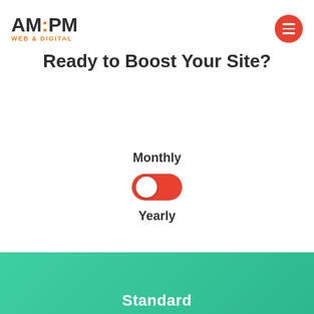[Figure (logo): AM:PM Web & Digital logo with orange colon dots and orange subtitle text]
[Figure (other): Red circular menu/hamburger button icon]
Ready to Boost Your Site?
Monthly
[Figure (other): Red toggle switch in on position with white knob on left side]
Yearly
Standard